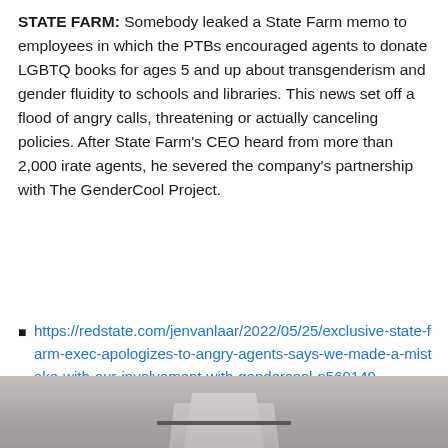STATE FARM: Somebody leaked a State Farm memo to employees in which the PTBs encouraged agents to donate LGBTQ books for ages 5 and up about transgenderism and gender fluidity to schools and libraries. This news set off a flood of angry calls, threatening or actually canceling policies. After State Farm's CEO heard from more than 2,000 irate agents, he severed the company's partnership with The GenderCool Project.
https://redstate.com/jenvanlaar/2022/05/25/exclusive-state-farm-exec-apologizes-to-angry-agents-says-we-made-a-mistake-with-our-involvement-with-gendercool-n569149
[Figure (photo): Bottom portion of a photo showing what appears to be a building or architectural element with a dark horizontal bar/ledge against a grey background.]